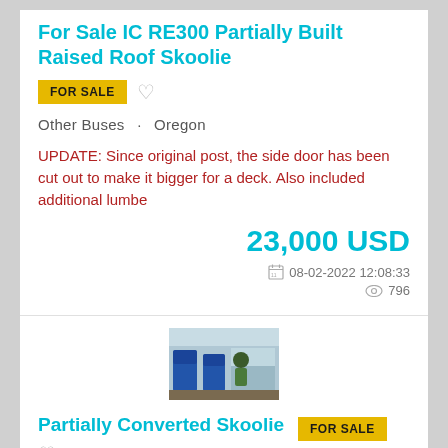For Sale IC RE300 Partially Built Raised Roof Skoolie
FOR SALE
Other Buses · Oregon
UPDATE: Since original post, the side door has been cut out to make it bigger for a deck. Also included additional lumbe
23,000 USD
08-02-2022 12:08:33
796
[Figure (photo): Thumbnail photo of a partially converted school bus interior showing blue seats]
Partially Converted Skoolie
FOR SALE